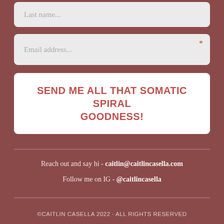[Figure (screenshot): Form input field for Last name with placeholder text 'Last name...' on dark red background]
[Figure (screenshot): Form input field for Email address with placeholder text 'Email address...' and required asterisk marker on dark red background]
SEND ME ALL THAT SOMATIC SPIRAL GOODNESS!
Reach out and say hi - caitlin@caitlincasella.com
Follow me on IG - @caitlincasella
©CAITLIN CASELLA 2022 · ALL RIGHTS RESERVED